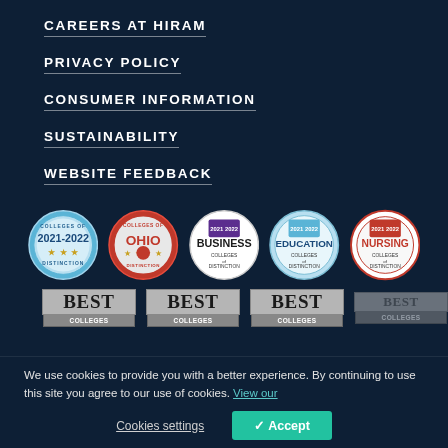CAREERS AT HIRAM
PRIVACY POLICY
CONSUMER INFORMATION
SUSTAINABILITY
WEBSITE FEEDBACK
[Figure (logo): Five circular College of Distinction badges: 2021-2022 general badge (blue), Ohio badge (red), Business College of Distinction badge (white/purple), Education College of Distinction badge (light blue), Nursing College of Distinction badge (white/red)]
[Figure (logo): Four 'BEST COLLEGES' badges in grey/silver block lettering]
We use cookies to provide you with a better experience. By continuing to use this site you agree to our use of cookies. View our policy
Cookies settings   ✓ Accept